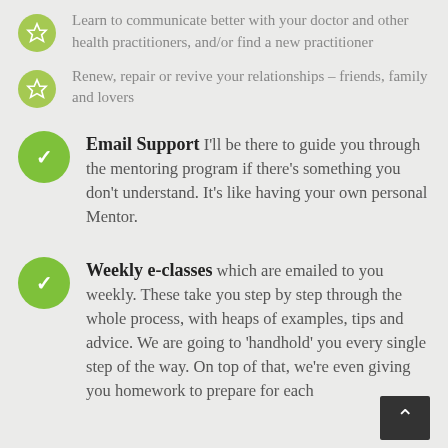Learn to communicate better with your doctor and other health practitioners, and/or find a new practitioner
Renew, repair or revive your relationships – friends, family and lovers
Email Support I'll be there to guide you through the mentoring program if there's something you don't understand. It's like having your own personal Mentor.
Weekly e-classes which are emailed to you weekly. These take you step by step through the whole process, with heaps of examples, tips and advice. We are going to 'handhold' you every single step of the way. On top of that, we're even giving you homework to prepare for each